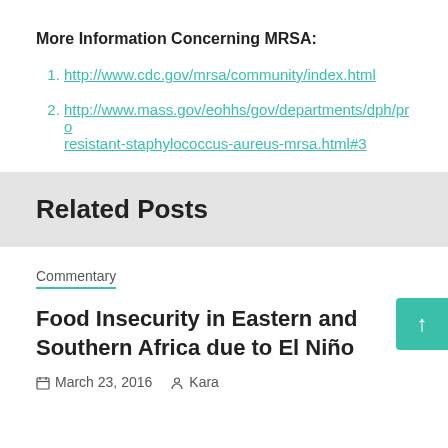More Information Concerning MRSA:
http://www.cdc.gov/mrsa/community/index.html
http://www.mass.gov/eohhs/gov/departments/dph/pro resistant-staphylococcus-aureus-mrsa.html#3
Related Posts
Commentary
Food Insecurity in Eastern and Southern Africa due to El Niño
March 23, 2016  Kara